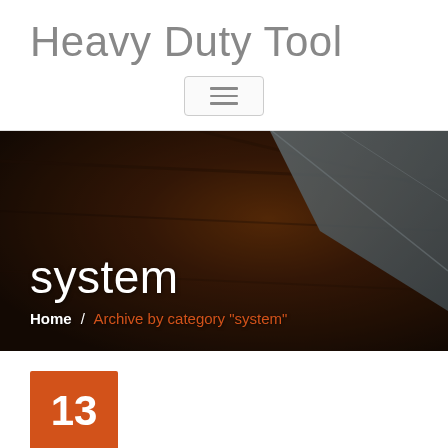Heavy Duty Tool
[Figure (other): Hamburger menu button with three horizontal lines]
[Figure (photo): Dark hero banner photo showing a dark brown wooden surface with a gray laptop corner visible, overlaid with title text 'system' and breadcrumb navigation]
system
Home / Archive by category "system"
13